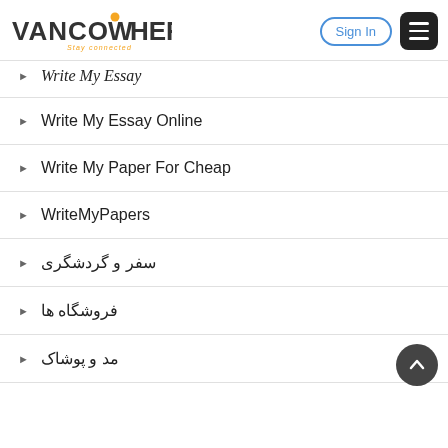[Figure (logo): VancoWhere logo with orange dot above W, subtitle 'Stay connected' in orange]
Write My Essay
Write My Essay Online
Write My Paper For Cheap
WriteMyPapers
سفر و گردشگری
فروشگاه ها
مد و پوشاک